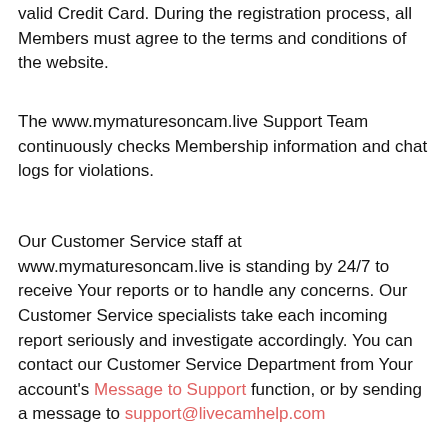valid Credit Card. During the registration process, all Members must agree to the terms and conditions of the website.
The www.mymaturesoncam.live Support Team continuously checks Membership information and chat logs for violations.
Our Customer Service staff at www.mymaturesoncam.live is standing by 24/7 to receive Your reports or to handle any concerns. Our Customer Service specialists take each incoming report seriously and investigate accordingly. You can contact our Customer Service Department from Your account's Message to Support function, or by sending a message to support@livecamhelp.com